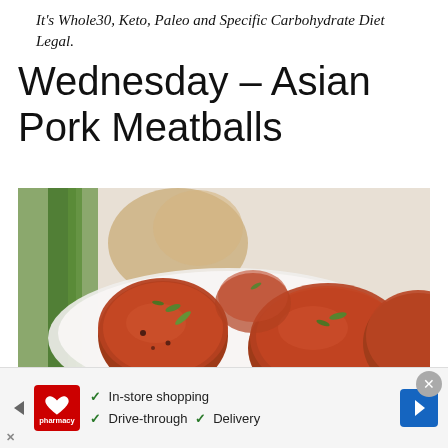It's Whole30, Keto, Paleo and Specific Carbohydrate Diet Legal.
Wednesday – Asian Pork Meatballs
[Figure (photo): Close-up photo of Asian pork meatballs garnished with green onions on a white plate, with ginger root and green onion stalks in the background]
[Figure (other): CVS Pharmacy advertisement banner with checkmarks for In-store shopping, Drive-through, and Delivery services, with a blue navigation arrow and close button]